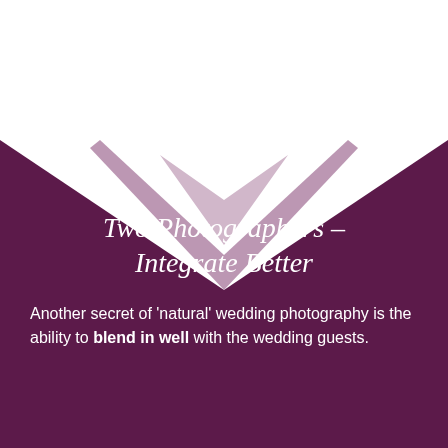[Figure (illustration): Dark purple chevron/bookmark shape pointing downward against a white background, creating a V-notch at the top of the purple section]
Two Photographers – Integrate Better
Another secret of 'natural' wedding photography is the ability to blend in well with the wedding guests.